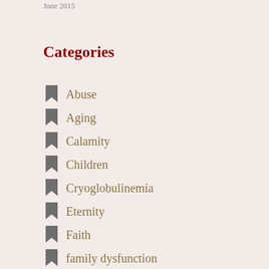June 2015
Categories
Abuse
Aging
Calamity
Children
Cryoglobulinemia
Eternity
Faith
family dysfunction
Happiness
Jesus